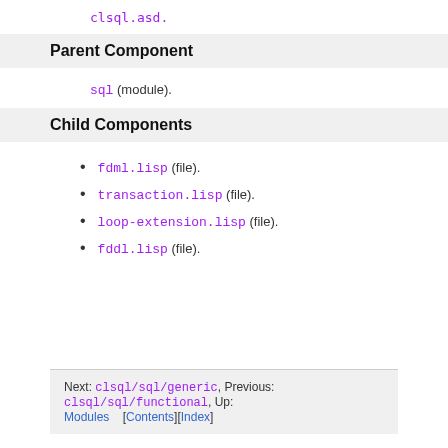clsql.asd.
Parent Component
sql (module).
Child Components
fdml.lisp (file).
transaction.lisp (file).
loop-extension.lisp (file).
fddl.lisp (file).
Next: clsql/sql/generic, Previous: clsql/sql/functional, Up: Modules    [Contents][Index]